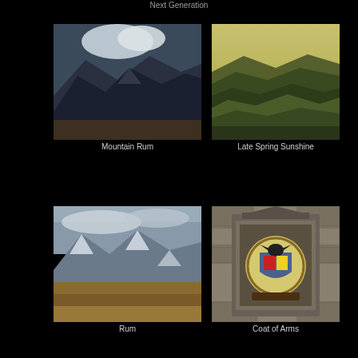Next Generation
[Figure (photo): Mountain landscape with clouds and dark rocky peaks — Mountain Rum]
Mountain Rum
[Figure (photo): Rolling green hills in late spring sunshine with warm golden sky]
Late Spring Sunshine
[Figure (photo): Scottish highland landscape with snow-dusted mountains and brown moorland — Rum]
Rum
[Figure (photo): Stone wall with an ornate coat of arms plaque featuring colorful heraldic design]
Coat of Arms